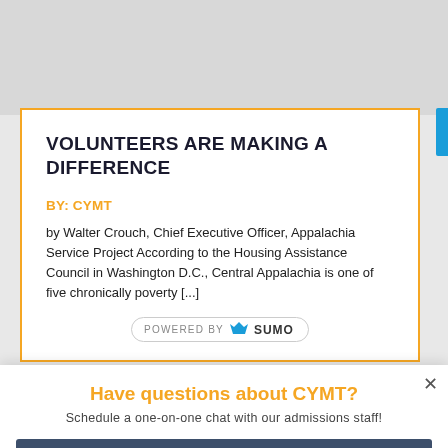VOLUNTEERS ARE MAKING A DIFFERENCE
BY: CYMT
by Walter Crouch, Chief Executive Officer, Appalachia Service Project According to the Housing Assistance Council in Washington D.C., Central Appalachia is one of five chronically poverty [...]
POWERED BY SUMO
Have questions about CYMT?
Schedule a one-on-one chat with our admissions staff!
Schedule Now